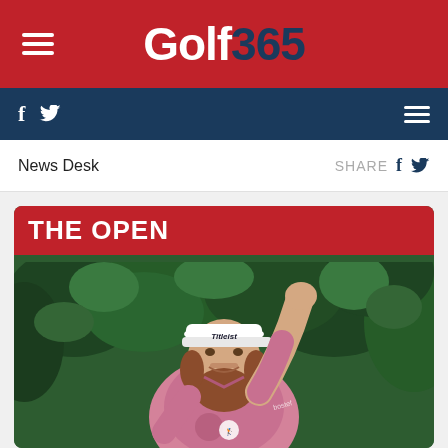Golf 365
f  (twitter icon)  (hamburger menu)
News Desk    SHARE  f  (twitter icon)
[Figure (photo): Golf365 website screenshot showing a golfer wearing a Titleist cap and pink polo shirt raising his hand in celebration, under THE OPEN category banner]
THE OPEN